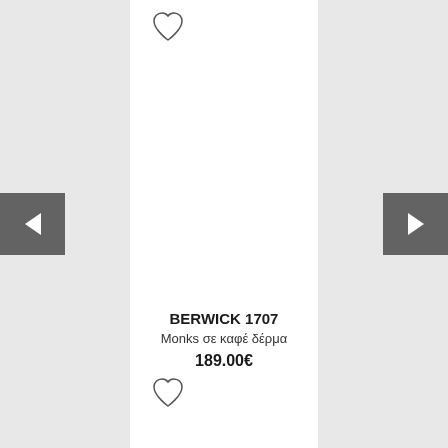[Figure (screenshot): E-commerce product listing screenshot showing BERWICK 1707 monks shoes with heart/wishlist icons and navigation arrows]
BERWICK 1707
Monks σε καφέ δέρμα
189.00€